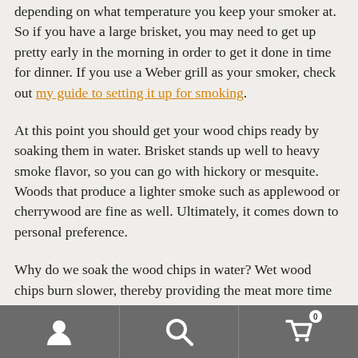depending on what temperature you keep your smoker at. So if you have a large brisket, you may need to get up pretty early in the morning in order to get it done in time for dinner. If you use a Weber grill as your smoker, check out my guide to setting it up for smoking.
At this point you should get your wood chips ready by soaking them in water. Brisket stands up well to heavy smoke flavor, so you can go with hickory or mesquite. Woods that produce a lighter smoke such as applewood or cherrywood are fine as well. Ultimately, it comes down to personal preference.
Why do we soak the wood chips in water? Wet wood chips burn slower, thereby providing the meat more time to be exposed the smoke. On the Weber grill smoker, I add
navigation bar with user, search, and cart icons